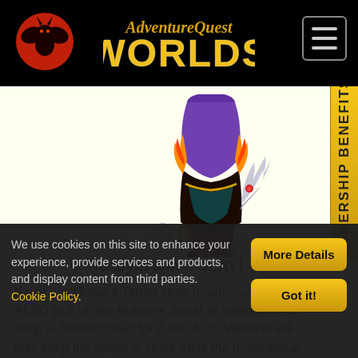[Figure (screenshot): AdventureQuest Worlds website header with logo, dragon mascot icon, and hamburger menu button on black background]
[Figure (illustration): Partial game character in dark armor with flame effects and clawed weapon/boots, crouching pose]
Ready… aim… SLAY!
If you don't have a Target store nearby, you can ALSO pick up the Bullseye Spear at Valencia's AC shop in /battleontown for 2,000 ACs! Valencia will only keep the Spear in stock while the promotional item is
We use cookies on this site to enhance your experience, provide services and products, and display content from third parties. Cookie Policy.